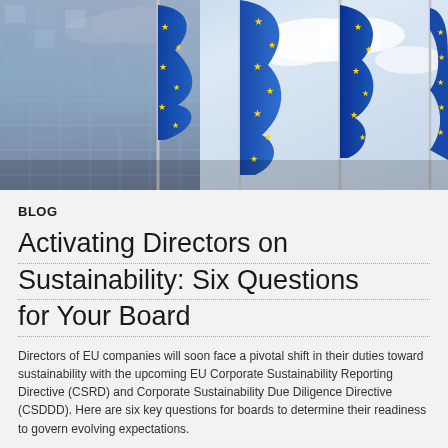[Figure (photo): Photograph of EU flags waving in front of a modern glass office building, viewed from below against a cloudy sky. Multiple blue EU flags with yellow stars are visible.]
BLOG
Activating Directors on Sustainability: Six Questions for Your Board
Directors of EU companies will soon face a pivotal shift in their duties toward sustainability with the upcoming EU Corporate Sustainability Reporting Directive (CSRD) and Corporate Sustainability Due Diligence Directive (CSDDD). Here are six key questions for boards to determine their readiness to govern evolving expectations.